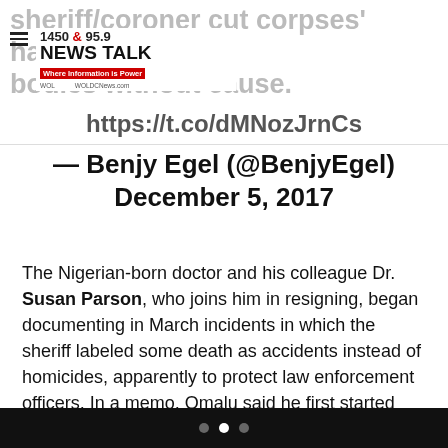[Figure (logo): News Talk 1450 & 95.9 radio station logo with red tagline bar 'Where Information is Power' and website WOLDCNews.com]
sheriff/coroner cut corpses' hands off their bodies without cause.
https://t.co/dMNozJrnCs
— Benjy Egel (@BenjyEgel) December 5, 2017
The Nigerian-born doctor and his colleague Dr. Susan Parson, who joins him in resigning, began documenting in March incidents in which the sheriff labeled some death as accidents instead of homicides, apparently to protect law enforcement officers. In a memo, Omalu said he first started noticing the pattern in 2016, which had gotten worse over time. The news outlet said it obtained copies of emails, notes and other correspondence that Parson sent to the San Joaquin County district attorney and board of supervisors after she resigned.